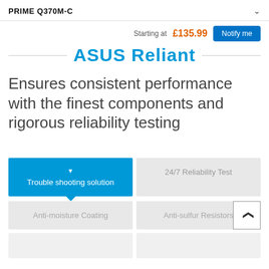PRIME Q370M-C
Starting at £135.99 Notify me
[Figure (logo): ASUS Reliant brand logo in blue text with horizontal lines on either side]
Ensures consistent performance with the finest components and rigorous reliability testing
Trouble shooting solution
24/7 Reliability Test
Anti-moisture Coating
Anti-sulfur Resistors